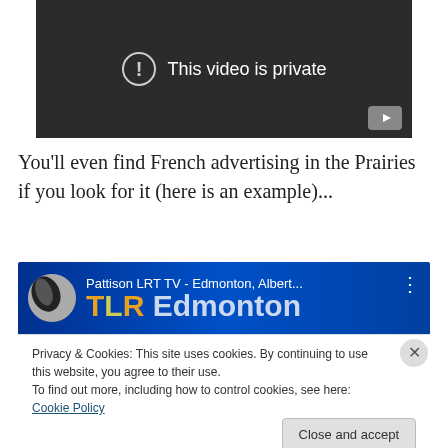[Figure (screenshot): YouTube video embed showing 'This video is private' message with exclamation icon on dark background]
You'll even find French advertising in the Prairies if you look for it (here is an example)...
[Figure (screenshot): YouTube embedded video thumbnail for Pattison LRT TV - Edmonton, Alberta showing TLR Edmonton channel with cookie consent banner overlay reading: Privacy & Cookies: This site uses cookies. By continuing to use this website, you agree to their use. To find out more, including how to control cookies, see here: Cookie Policy. With Close and accept button.]